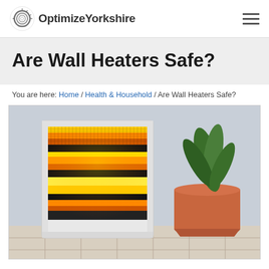OptimizeYorkshire logo and navigation
Are Wall Heaters Safe?
You are here: Home / Health & Household / Are Wall Heaters Safe?
[Figure (photo): A glowing electric wall heater with orange and yellow heating elements in a white frame, with a terracotta plant pot containing a green plant in the background, on a tiled floor.]